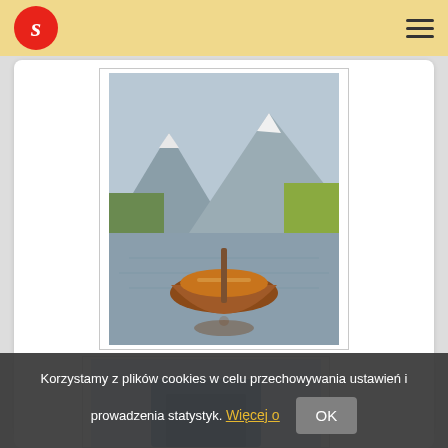S (logo) — navigation header with hamburger menu
[Figure (photo): A wooden rowing boat on a calm alpine lake with mountain and forest reflections]
Rowing Boat In Lake
Od PLN 74.50
[Figure (photo): Partial view of a second product image, showing blue water/ice scene]
Korzystamy z plików cookies w celu przechowywania ustawień i prowadzenia statystyk. Więcej o OK